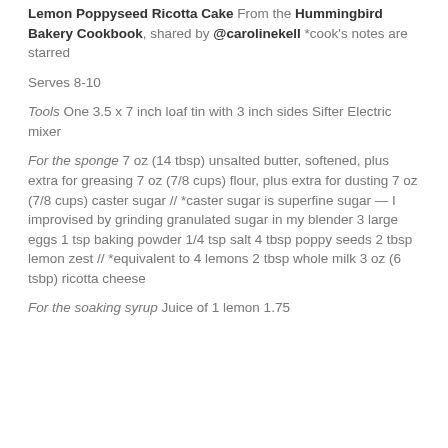Lemon Poppyseed Ricotta Cake From the Hummingbird Bakery Cookbook, shared by @carolinekell *cook's notes are starred
Serves 8-10
Tools One 3.5 x 7 inch loaf tin with 3 inch sides Sifter Electric mixer
For the sponge 7 oz (14 tbsp) unsalted butter, softened, plus extra for greasing 7 oz (7/8 cups) flour, plus extra for dusting 7 oz (7/8 cups) caster sugar // *caster sugar is superfine sugar — I improvised by grinding granulated sugar in my blender 3 large eggs 1 tsp baking powder 1/4 tsp salt 4 tbsp poppy seeds 2 tbsp lemon zest // *equivalent to 4 lemons 2 tbsp whole milk 3 oz (6 tsbp) ricotta cheese
For the soaking syrup Juice of 1 lemon 1.75